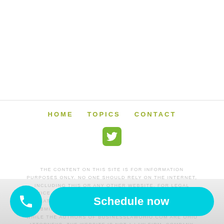HOME  TOPICS  CONTACT
[Figure (logo): Twitter bird icon in green rounded square]
THE CONTENT ON THIS SITE IS FOR INFORMATION PURPOSES ONLY. NO ONE SHOULD RELY ON THE INTERNET, INCLUDING THIS OR ANY OTHER WEBSITE, FOR LEGAL ADVICE. COMMUNICATING THROUGH THIS SITE DOES NOT CREATE AN ATTORNEY CLIENT RELATIONSHIP AND YOUR SUBMISSION IS NOT A CONFIDENTIAL COMMUNICATION. WHILE THE AUTHORS OF BUSINESSLAWOHIO.COM ARE OHIO ATTORNEYS, THE WEBSITE IS NOT A LAW FIRM, COMPANY, OR THE...
Schedule now